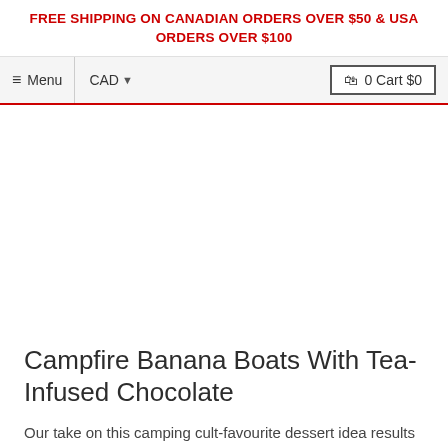FREE SHIPPING ON CANADIAN ORDERS OVER $50 & USA ORDERS OVER $100
≡ Menu  CAD ▾  🛒 0 Cart $0
Campfire Banana Boats With Tea-Infused Chocolate
Our take on this camping cult-favourite dessert idea results in